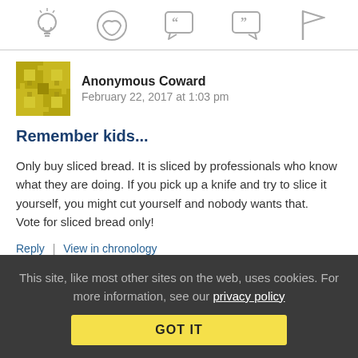[icon toolbar: lightbulb, smiley, open-quote, close-quote, flag]
Anonymous Coward   February 22, 2017 at 1:03 pm
Remember kids...
Only buy sliced bread. It is sliced by professionals who know what they are doing. If you pick up a knife and try to slice it yourself, you might cut yourself and nobody wants that. Vote for sliced bread only!
Reply | View in chronology
This site, like most other sites on the web, uses cookies. For more information, see our privacy policy GOT IT